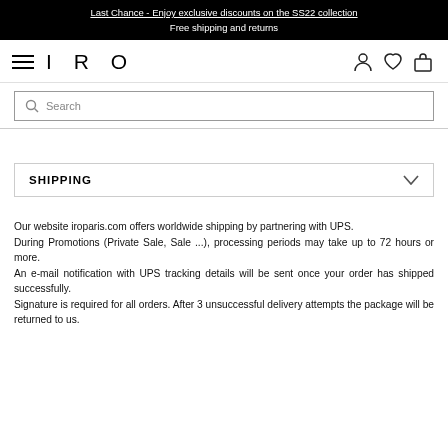Last Chance - Enjoy exclusive discounts on the SS22 collection
Free shipping and returns
[Figure (logo): IRO Paris logo with hamburger menu icon on the left and user, wishlist, bag icons on the right]
Search
SHIPPING
Our website iroparis.com offers worldwide shipping by partnering with UPS.
During Promotions (Private Sale, Sale ...), processing periods may take up to 72 hours or more.
An e-mail notification with UPS tracking details will be sent once your order has shipped successfully.
Signature is required for all orders. After 3 unsuccessful delivery attempts the package will be returned to us.